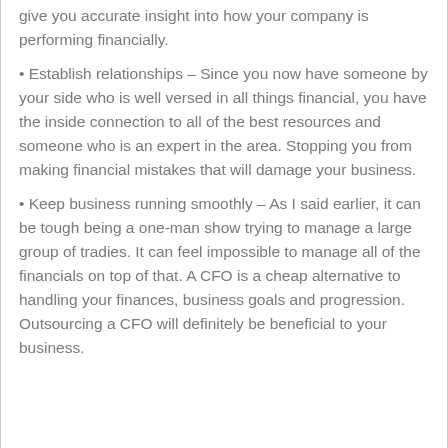give you accurate insight into how your company is performing financially.
• Establish relationships – Since you now have someone by your side who is well versed in all things financial, you have the inside connection to all of the best resources and someone who is an expert in the area. Stopping you from making financial mistakes that will damage your business.
• Keep business running smoothly – As I said earlier, it can be tough being a one-man show trying to manage a large group of tradies. It can feel impossible to manage all of the financials on top of that. A CFO is a cheap alternative to handling your finances, business goals and progression. Outsourcing a CFO will definitely be beneficial to your business.